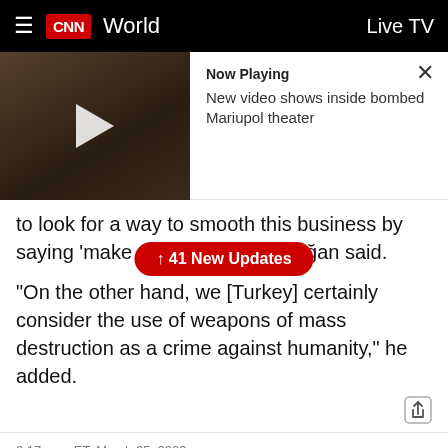CNN World — Live TV
[Figure (screenshot): Video thumbnail showing a dark scene with a white play button triangle. Overlay panel on right shows 'Now Playing: New video shows inside bombed Mariupol theater' with an X close button.]
to look for a way to smooth this business by saying 'make an honorable [exit],' Erdoğan said.
"On the other hand, we [Turkey] certainly consider the use of weapons of mass destruction as a crime against humanity," he added.
↑ 41 New Updates
8:17 a.m. ET, March 25, 2022
As Biden heads to Poland, Europe's mounting refugee crisis comes into